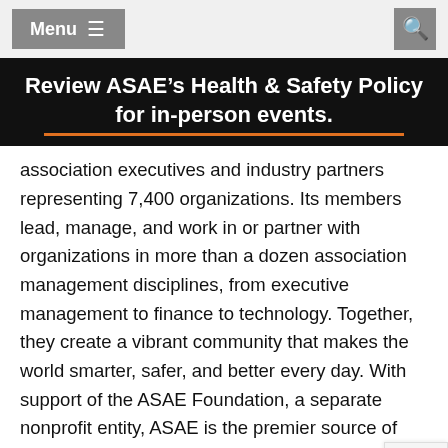Menu  [search icon]
Review ASAE’s Health & Safety Policy for in-person events.
association executives and industry partners representing 7,400 organizations. Its members lead, manage, and work in or partner with organizations in more than a dozen association management disciplines, from executive management to finance to technology. Together, they create a vibrant community that makes the world smarter, safer, and better every day. With support of the ASAE Foundation, a separate nonprofit entity, ASAE is the premier source of learning, knowledge, and future-oriented research for the association and nonprofit profession and provides resources, education, ideas, and advocacy to enhance the power and performance of the association and nonprofit community. Visit ASAE at